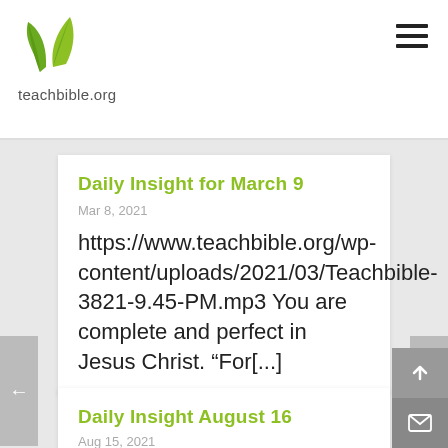teachbible.org
Daily Insight for March 9
Mar 8, 2021
https://www.teachbible.org/wp-content/uploads/2021/03/Teachbible-3821-9.45-PM.mp3 You are complete and perfect in Jesus Christ. “For[...]
Daily Insight August 16